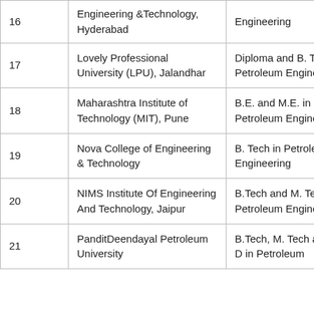| # | Institution | Programs Offered |
| --- | --- | --- |
| 16 | Engineering &Technology, Hyderabad | Engineering |
| 17 | Lovely Professional University (LPU), Jalandhar | Diploma and B. Tech in Petroleum Engineering |
| 18 | Maharashtra Institute of Technology (MIT), Pune | B.E. and M.E. in Petroleum Engineering |
| 19 | Nova College of Engineering & Technology | B. Tech in Petroleum Engineering |
| 20 | NIMS Institute Of Engineering And Technology, Jaipur | B.Tech and M. Tech in Petroleum Engineering |
| 21 | PanditDeendayal Petroleum University | B.Tech, M. Tech and Ph. D in Petroleum |